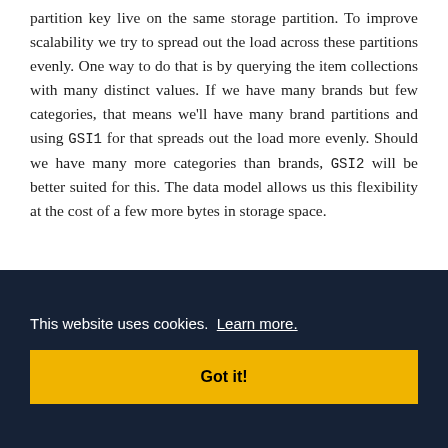partition key live on the same storage partition. To improve scalability we try to spread out the load across these partitions evenly. One way to do that is by querying the item collections with many distinct values. If we have many brands but few categories, that means we'll have many brand partitions and using GSI1 for that spreads out the load more evenly. Should we have many more categories than brands, GSI2 will be better suited for this. The data model allows us this flexibility at the cost of a few more bytes in storage space.
This website uses cookies. Learn more. Got it!